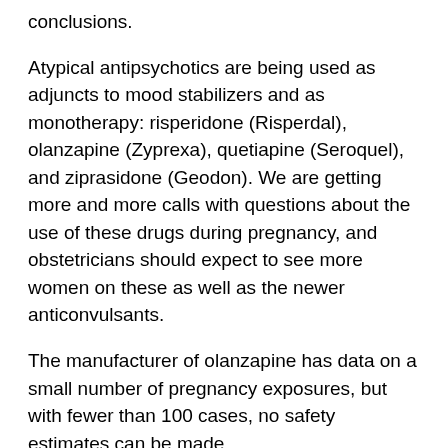conclusions.
Atypical antipsychotics are being used as adjuncts to mood stabilizers and as monotherapy: risperidone (Risperdal), olanzapine (Zyprexa), quetiapine (Seroquel), and ziprasidone (Geodon). We are getting more and more calls with questions about the use of these drugs during pregnancy, and obstetricians should expect to see more women on these as well as the newer anticonvulsants.
The manufacturer of olanzapine has data on a small number of pregnancy exposures, but with fewer than 100 cases, no safety estimates can be made.
The atypicals often cause weight gain, and maternal adiposity may increase the risk for neural tube defects. This was noted in a recent study of patients with schizophrenia taking atypical or typical antipsychotics by Dr. Gideon Koren and his associates at the University of